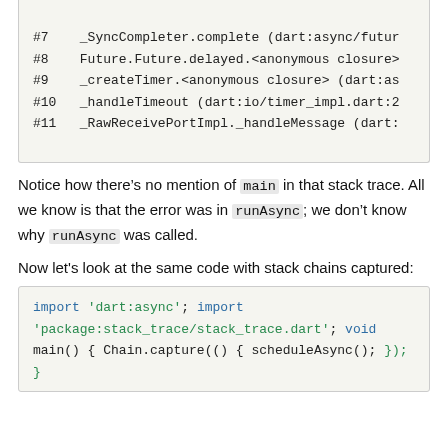#7   _SyncCompleter.complete (dart:async/futu
#8   Future.Future.delayed.<anonymous closure>
#9   _createTimer.<anonymous closure> (dart:as
#10  _handleTimeout (dart:io/timer_impl.dart:2
#11  _RawReceivePortImpl._handleMessage (dart:
Notice how there’s no mention of main in that stack trace. All we know is that the error was in runAsync; we don’t know why runAsync was called.
Now let's look at the same code with stack chains captured:
import 'dart:async';

import 'package:stack_trace/stack_trace.dart';

void main() {
  Chain.capture(() {
    scheduleAsync();
  });
}